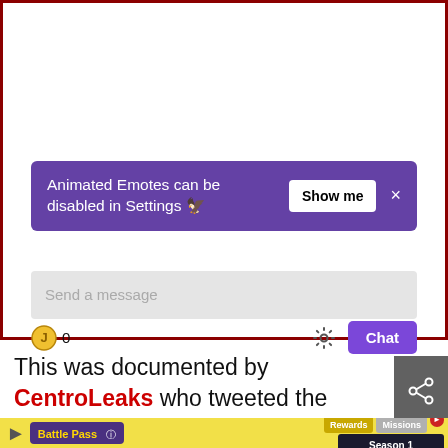[Figure (screenshot): Twitch chat interface showing a purple banner notification: 'Animated Emotes can be disabled in Settings' with a 'Show me' button and X close button, a 'Send a message' input box, and chat toolbar with bits icon (0), gear icon, and purple 'Chat' button.]
This was documented by CentroLeaks who tweeted the following image:
[Figure (screenshot): Partial screenshot showing a Battle Pass tab with Rewards and Missions tabs, Season 1 header, Season First label, End Date 2021/03/16 01:00:00]